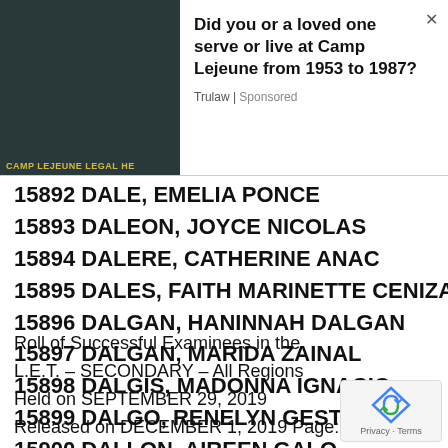[Figure (screenshot): Advertisement banner for Trulaw / Camp Lejeune Legal Help with dark background image on left and text on right]
15892 DALE, EMELIA PONCE
15893 DALEON, JOYCE NICOLAS
15894 DALERE, CATHERINE ANAC
15895 DALES, FAITH MARINETTE CENIZA
15896 DALGAN, HANINNAH DALGAN
15897 DALGAN, MARIDA ZAINAL
15898 DALGIS, MADONNA IGNACIO
15899 DALGO, RENELYN GESTANO
15900 DALI-ON, AIREEN GALO
Roll of Successful Examinees in the L.E.T. – SECONDARY – All Regions Held on SEPTEMBER 29, 2019 Released on DECEMBER 1, 2019 Page: 320 o Seq. No. N a m e
15901 DALID, ALIRAE MAMASABULOD